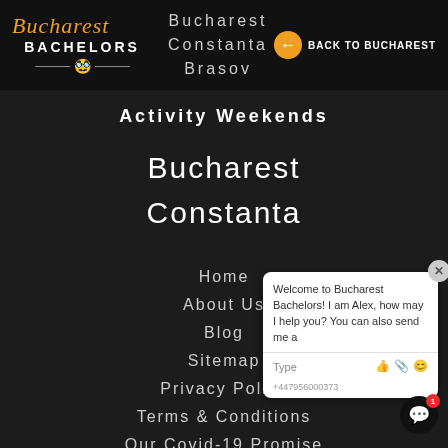[Figure (logo): Bucharest Bachelors logo with stylized italic text 'Bucharest' in gold and 'BACHELORS' in white bold letters below, with a mustache icon]
Bucharest
Constanta
Brasov
BACK TO BUCHAREST
Activity Weekends
Bucharest
Constanta
Home
About Us
Blog
Sitemap
Privacy Policy
Terms & Conditions
Our Covid-19 Promise
Welcome to Bucharest Bachelors! I am Alex, how may I help you? You can also send me a